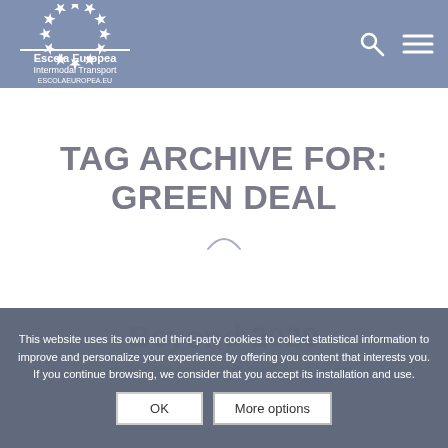Escola Europea Intermodal Transport ESCOLAEUROPEA.EU
TAG ARCHIVE FOR: GREEN DEAL
This website uses its own and third-party cookies to collect statistical information to improve and personalize your experience by offering you content that interests you. If you continue browsing, we consider that you accept its installation and use.
OK   More options